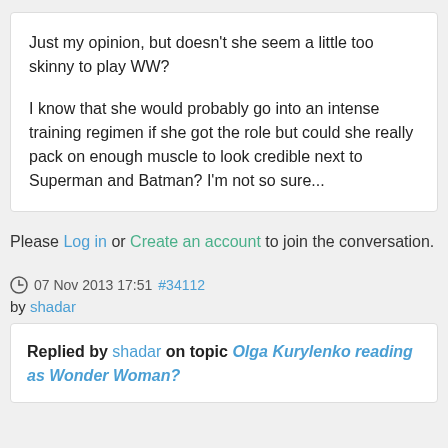Just my opinion, but doesn't she seem a little too skinny to play WW?
I know that she would probably go into an intense training regimen if she got the role but could she really pack on enough muscle to look credible next to Superman and Batman? I'm not so sure...
Please Log in or Create an account to join the conversation.
07 Nov 2013 17:51 #34112
by shadar
Replied by shadar on topic Olga Kurylenko reading as Wonder Woman?